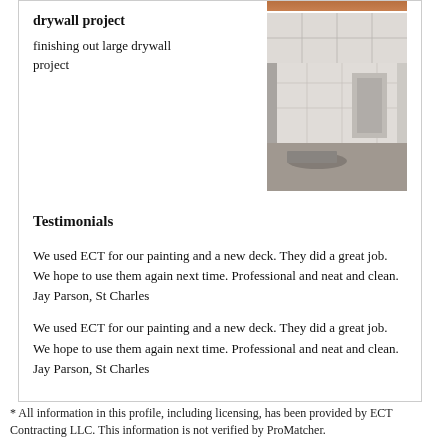[Figure (photo): Top partial photo strip, brownish image at top of card]
drywall project
finishing out large drywall project
[Figure (photo): Photo of large drywall interior project, white drywall walls and ceiling under construction]
Testimonials
We used ECT for our painting and a new deck. They did a great job. We hope to use them again next time. Professional and neat and clean. Jay Parson, St Charles
We used ECT for our painting and a new deck. They did a great job. We hope to use them again next time. Professional and neat and clean. Jay Parson, St Charles
* All information in this profile, including licensing, has been provided by ECT Contracting LLC. This information is not verified by ProMatcher.